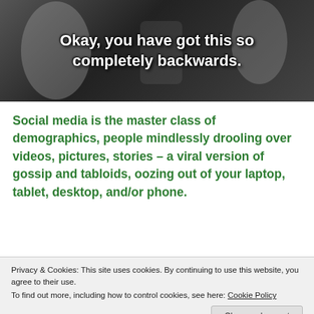[Figure (photo): Film/TV screenshot showing a person gesturing, with white bold caption text overlay reading 'Okay, you have got this so completely backwards.']
Social media is the master class of demographics, people mindlessly drooling over videos, pictures, stories –  a viral version of gossip and tabloids, oozing out of your laptop, tablet, desktop, and/or phone.
[Figure (photo): Black and white photo of a man sitting in a chair holding a small round object (possibly a ball or phone) looking at camera]
Privacy & Cookies: This site uses cookies. By continuing to use this website, you agree to their use.
To find out more, including how to control cookies, see here: Cookie Policy
[Figure (photo): Partial black and white photo at the bottom of the page, cropped]